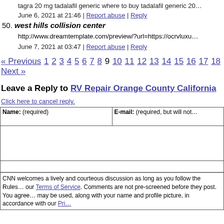tagra 20 mg tadalafil generic where to buy tadalafil generic 20…
June 6, 2021 at 21:46 | Report abuse | Reply
50. west hills collision center
http://www.dreamtemplate.com/preview/?url=https://ocrvluxu…
June 7, 2021 at 03:47 | Report abuse | Reply
« Previous 1 2 3 4 5 6 7 8 9 10 11 12 13 14 15 16 17 18 Next »
Leave a Reply to RV Repair Orange County California
Click here to cancel reply.
| Name: (required) | E-mail: (required, but will not…) |
| --- | --- |
|  |  |
CNN welcomes a lively and courteous discussion as long as you follow the Rules… our Terms of Service. Comments are not pre-screened before they post. You agree… may be used, along with your name and profile picture, in accordance with our Pri…